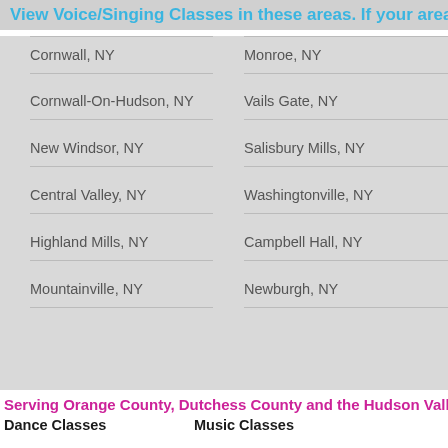View Voice/Singing Classes in these areas. If your area is
Cornwall, NY
Monroe, NY
Cornwall-On-Hudson, NY
Vails Gate, NY
New Windsor, NY
Salisbury Mills, NY
Central Valley, NY
Washingtonville, NY
Highland Mills, NY
Campbell Hall, NY
Mountainville, NY
Newburgh, NY
Home
Register
- Class Schedule
- Registration Form
- Fees
- Dance Fees
- Music Fees
- Acting Fees
Calendar
Photo Gallery
Birthday Parties
Studio News
Forms
Testimonials
Cla
Da
Serving Orange County, Dutchess County and the Hudson Valle
Dance Classes
Music Classes